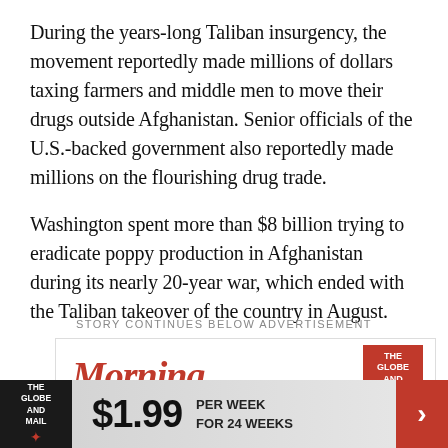During the years-long Taliban insurgency, the movement reportedly made millions of dollars taxing farmers and middle men to move their drugs outside Afghanistan. Senior officials of the U.S.-backed government also reportedly made millions on the flourishing drug trade.
Washington spent more than $8 billion trying to eradicate poppy production in Afghanistan during its nearly 20-year war, which ended with the Taliban takeover of the country in August.
STORY CONTINUES BELOW ADVERTISEMENT
[Figure (other): Advertisement showing 'Morning' text in red italic font with The Globe and Mail logo, and a bottom banner ad showing $1.99 per week for 24 weeks with The Globe and Mail logo and a red arrow.]